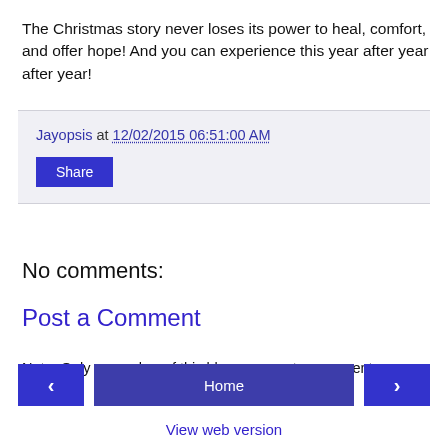The Christmas story never loses its power to heal, comfort, and offer hope! And you can experience this year after year after year!
Jayopsis at 12/02/2015 06:51:00 AM
Share
No comments:
Post a Comment
Note: Only a member of this blog may post a comment.
‹
Home
›
View web version